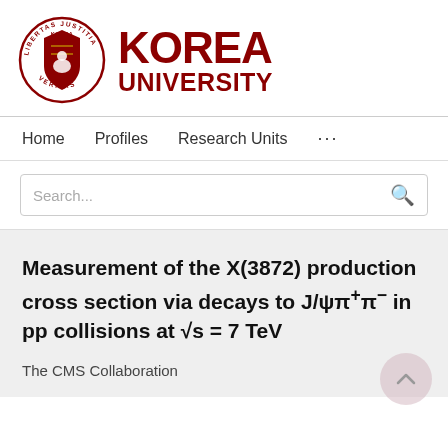[Figure (logo): Korea University logo: circular seal with Latin motto LIBERTAS JUSTITIA VERITAS and a bear emblem, alongside bold dark red text reading KOREA UNIVERSITY]
Home   Profiles   Research Units   ...
Search...
Measurement of the X(3872) production cross section via decays to J/ψπ+π− in pp collisions at √s = 7 TeV
The CMS Collaboration